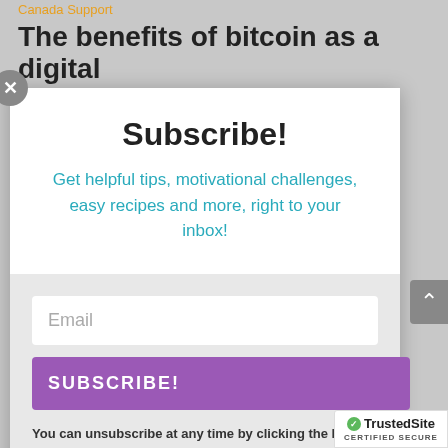Canada Support
The benefits of bitcoin as a digital
Subscribe!
Get helpful tips, motivational challenges, easy recipes and more, right to your inbox!
Email
SUBSCRIBE!
You can unsubscribe at any time by clicking the link in the footer of our emails. For information about our privacy practices, please visit our website.
[Figure (other): TrustedSite CERTIFIED SECURE badge with green checkmark]